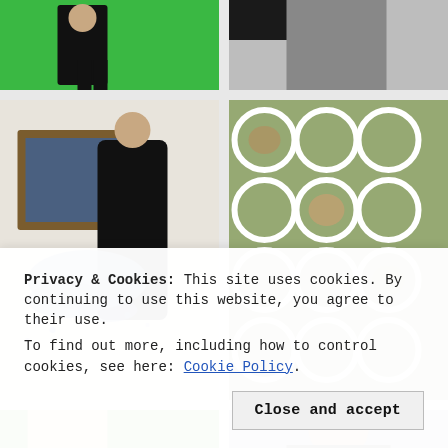[Figure (photo): Top-left photo: person in black outfit against bright green background/set]
[Figure (photo): Top-right photo: partial view of person/dark object against light background]
[Figure (photo): Middle-left photo: person in black outfit interacting with a framed painting, with water/liquid splash effect coming out of the artwork]
[Figure (photo): Middle-right photo: mirror installation with circular/bubble pattern showing multiple reflections of a person taking a selfie with glasses]
[Figure (photo): Bottom-left photo: partial view with green/colorful background]
[Figure (photo): Bottom-right photo: partial view of a person]
Privacy & Cookies: This site uses cookies. By continuing to use this website, you agree to their use.
To find out more, including how to control cookies, see here: Cookie Policy
Close and accept